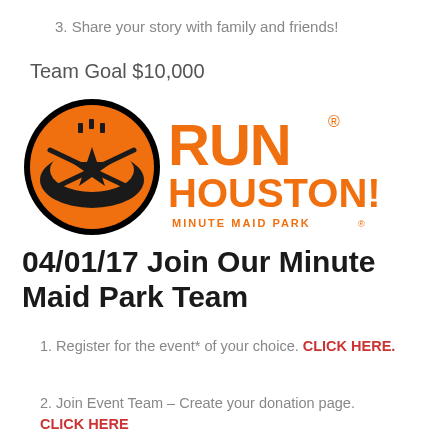3. Share your story with family and friends!
Team Goal $10,000
[Figure (logo): Run Houston! Minute Maid Park logo — circular black and orange logo on the left with a star and crossed bats, and orange bold text RUN HOUSTON! MINUTE MAID PARK on the right]
04/01/17 Join Our Minute Maid Park Team
1. Register for the event* of your choice. CLICK HERE.
2. Join Event Team – Create your donation page. CLICK HERE